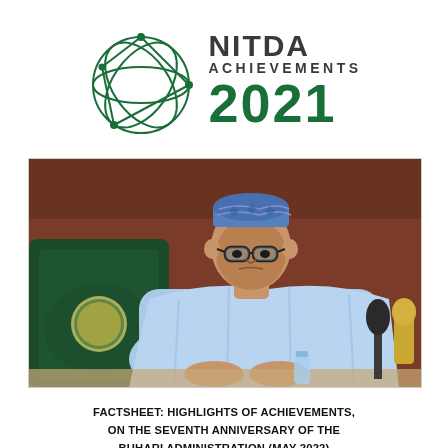[Figure (logo): NITDA logo with globe network icon on the left and text 'NITDA ACHIEVEMENTS 2021' on the right, with 2021 in large green bold numerals]
[Figure (photo): Photograph of President Muhammadu Buhari seated at a desk in an official setting, wearing a light blue agbada and cap, with a green leather chair bearing the Nigerian coat of arms visible behind him]
FACTSHEET: HIGHLIGHTS OF ACHIEVEMENTS, ON THE SEVENTH ANNIVERSARY OF THE BUHARI ADMINISTRATION (MAY 2022)